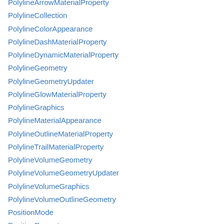PolylineArrowMaterialProperty
PolylineCollection
PolylineColorAppearance
PolylineDashMaterialProperty
PolylineDynamicMaterialProperty
PolylineGeometry
PolylineGeometryUpdater
PolylineGlowMaterialProperty
PolylineGraphics
PolylineMaterialAppearance
PolylineOutlineMaterialProperty
PolylineTrailMaterialProperty
PolylineVolumeGeometry
PolylineVolumeGeometryUpdater
PolylineVolumeGraphics
PolylineVolumeOutlineGeometry
PositionMode
PositionProperty
PositionPropertyArray